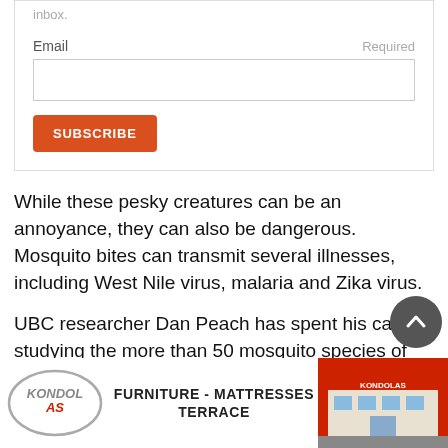inbox.
Email    Required
SUBSCRIBE
While these pesky creatures can be an annoyance, they can also be dangerous. Mosquito bites can transmit several illnesses, including West Nile virus, malaria and Zika virus.
UBC researcher Dan Peach has spent his career studying the more than 50 mosquito species of B.C.
[Figure (photo): Kondolas Furniture Mattresses Terrace advertisement banner showing logo and store building]